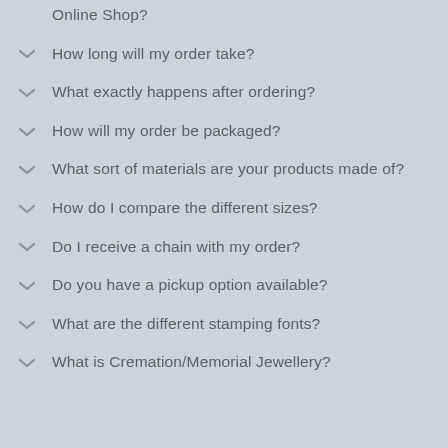Online Shop?
How long will my order take?
What exactly happens after ordering?
How will my order be packaged?
What sort of materials are your products made of?
How do I compare the different sizes?
Do I receive a chain with my order?
Do you have a pickup option available?
What are the different stamping fonts?
What is Cremation/Memorial Jewellery?